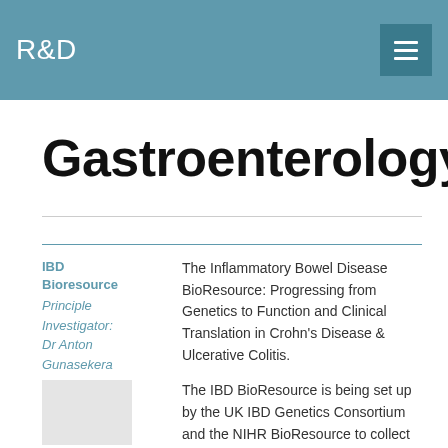R&D
Gastroenterology
IBD Bioresource Principle Investigator: Dr Anton Gunasekera
The Inflammatory Bowel Disease BioResource: Progressing from Genetics to Function and Clinical Translation in Crohn's Disease & Ulcerative Colitis.

The IBD BioResource is being set up by the UK IBD Genetics Consortium and the NIHR BioResource to collect DNA and serum samples from a